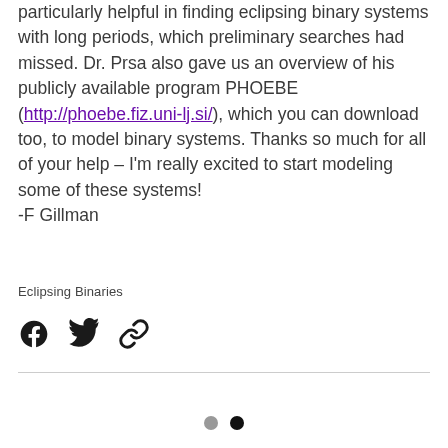particularly helpful in finding eclipsing binary systems with long periods, which preliminary searches had missed. Dr. Prsa also gave us an overview of his publicly available program PHOEBE (http://phoebe.fiz.uni-lj.si/), which you can download too, to model binary systems. Thanks so much for all of your help – I'm really excited to start modeling some of these systems!
-F Gillman
Eclipsing Binaries
[Figure (other): Social share icons: Facebook, Twitter, and link/chain icon]
[Figure (other): Pagination dots: grey dot and black dot]